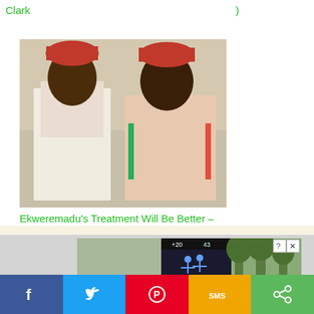Clark
)
[Figure (photo): Two men seated together, one wearing a red traditional cap and white clothing, the other in a light pink traditional outfit with green/red accents]
Ekweremadu's Treatment Will Be Better – Nnamdi Kanu To Orji Uzor Kalu
[Figure (screenshot): Advertisement banner showing a game called Hold and Move with people silhouettes against outdoor background with trees]
Social share bar with Facebook, Twitter, Pinterest, SMS, and Share buttons